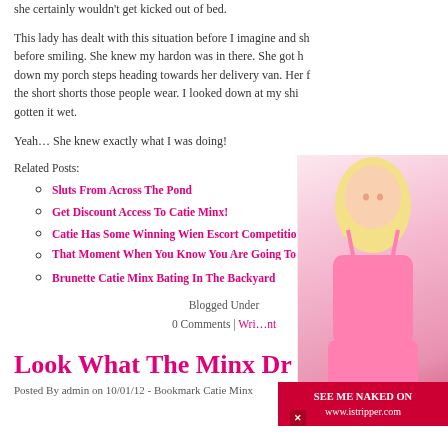she certainly wouldn't get kicked out of bed.
This lady has dealt with this situation before I imagine and sh... before smiling. She knew my hardon was in there. She got h... down my porch steps heading towards her delivery van. Her f... the short shorts those people wear. I looked down at my shi... gotten it wet.
Yeah… She knew exactly what I was doing!
Related Posts:
Sluts From Across The Pond
Get Discount Access To Catie Minx!
Catie Has Some Winning Wien Escort Competition
That Moment When You Know You Are Going To Get L...
Brunette Catie Minx Bating In The Backyard
Blogged Under...
0 Comments | Wri... ...nt
[Figure (photo): Blonde woman in pink lingerie, partially visible on right side of page]
Look What The Minx Dr...
Posted By admin on 10/01/12 - Bookmark Catie Minx